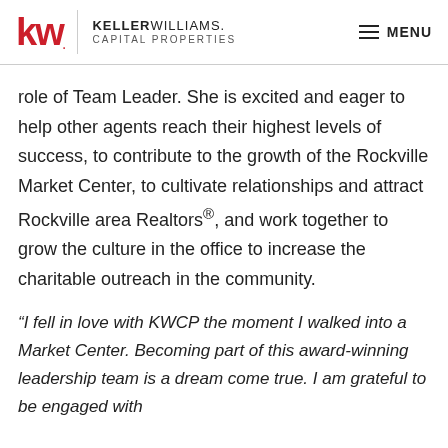KELLER WILLIAMS. CAPITAL PROPERTIES | MENU
role of Team Leader. She is excited and eager to help other agents reach their highest levels of success, to contribute to the growth of the Rockville Market Center, to cultivate relationships and attract Rockville area Realtors®, and work together to grow the culture in the office to increase the charitable outreach in the community.
“I fell in love with KWCP the moment I walked into a Market Center. Becoming part of this award-winning leadership team is a dream come true. I am grateful to be engaged with